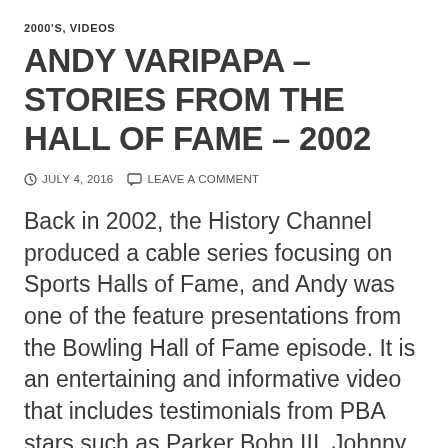2000'S, VIDEOS
ANDY VARIPAPA – STORIES FROM THE HALL OF FAME – 2002
JULY 4, 2016   LEAVE A COMMENT
Back in 2002, the History Channel produced a cable series focusing on Sports Halls of Fame, and Andy was one of the feature presentations from the Bowling Hall of Fame episode. It is an entertaining and informative video that includes testimonials from PBA stars such as Parker Bohn III, Johnny Petraglia, and George Pappas.  It also includes film clips from actual matches and of